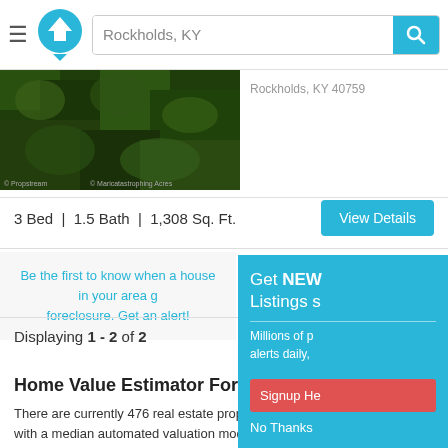Rockholds, KY — search bar with logo
[Figure (photo): Aerial photo of green tree canopy property in Rockholds, KY]
Rockholds, KY 40759
3 Bed | 1.5 Bath | 1,308 Sq. Ft.
View Details
Be the first to know when a house in your area goes into foreclosure. Get an alert!
Displaying 1 - 2 of 2
Home Value Estimator For Rockholds, KY
There are currently 476 real estate properties in Rockholds, KY with a median automated valuation model (AVM) price of $103,300.00. What is an AVM? It is a smart computer program that analyzes and predicts the approximate value of a home, property or land in Rockholds, KY, based on current market
Get NEW Listings s
Millions of p alerts daily,
Signup He
No Thanks